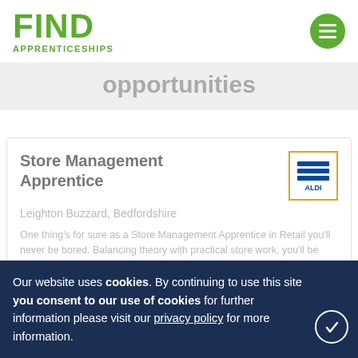FIND APPRENTICESHIPS
opportunities
Store Management Apprentice
Leighton Buzzard, Bedfordshire
One thing's for sure as a Store Management Apprentice in Retail you'll never be bored. Balancing theory with practical store work, you'll be expected to w... re...
Our website uses cookies. By continuing to use this site you consent to our use of cookies for further information please visit our privacy policy for more information.